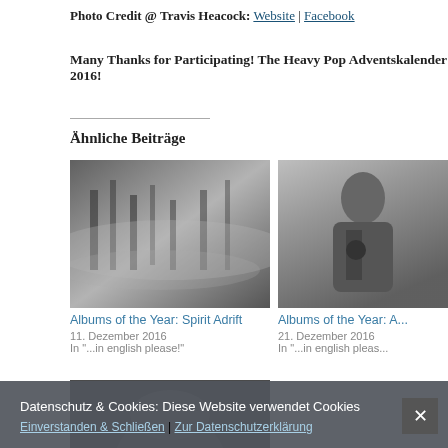Photo Credit @ Travis Heacock: Website | Facebook
Many Thanks for Participating! The Heavy Pop Adventskalender 2016!
Ähnliche Beiträge
[Figure (photo): Black and white landscape photo with trees and misty atmosphere]
Albums of the Year: Spirit Adrift
11. Dezember 2016
In "...in english please!"
[Figure (photo): Black and white portrait of a man in a jacket standing near a wall]
Albums of the Year: A...
21. Dezember 2016
In "...in english pleas..."
[Figure (photo): Partial black and white photo of a person's face/head viewed from above]
Datenschutz & Cookies: Diese Website verwendet Cookies
Einverstanden & Schließen | Zur Datenschutzerklärung